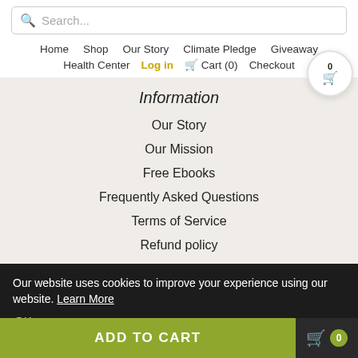Search...
Home  Shop  Our Story  Climate Pledge  Giveaway
Health Center  Log in  Cart (0)  Checkout  0
Information
Our Story
Our Mission
Free Ebooks
Frequently Asked Questions
Terms of Service
Refund policy
Our website uses cookies to improve your experience using our website. Learn More
OK
ADD TO CART  0